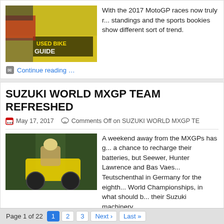[Figure (photo): Motorbike with 'Used Bike Guide' text on fairing, rider in red gloves]
With the 2017 MotoGP races now truly r... standings and the sports bookies show different sort of trend.
Continue reading …
SUZUKI WORLD MXGP TEAM REFRESHED
May 17, 2017    Comments Off on SUZUKI WORLD MXGP TE
[Figure (photo): Motocross rider on yellow dirt bike jumping in forested area]
A weekend away from the MXGPs has g... a chance to recharge their batteries, but Seewer, Hunter Lawrence and Bas Vaes... Teutschenthal in Germany for the eighth... World Championships, in what should b... their Suzuki machinery.
Continue reading …
Page 1 of 22   1   2   3   Next ›   Last »